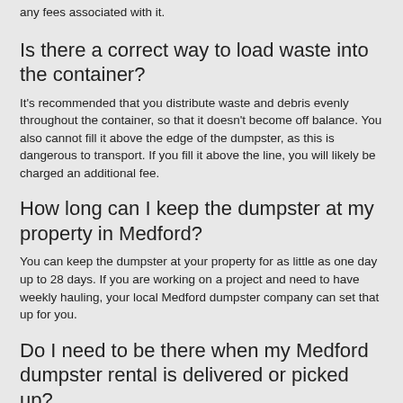any fees associated with it.
Is there a correct way to load waste into the container?
It's recommended that you distribute waste and debris evenly throughout the container, so that it doesn't become off balance. You also cannot fill it above the edge of the dumpster, as this is dangerous to transport. If you fill it above the line, you will likely be charged an additional fee.
How long can I keep the dumpster at my property in Medford?
You can keep the dumpster at your property for as little as one day up to 28 days. If you are working on a project and need to have weekly hauling, your local Medford dumpster company can set that up for you.
Do I need to be there when my Medford dumpster rental is delivered or picked up?
No, if you give good directions about where it needs to be dropped off, then you do not need to be present when it's